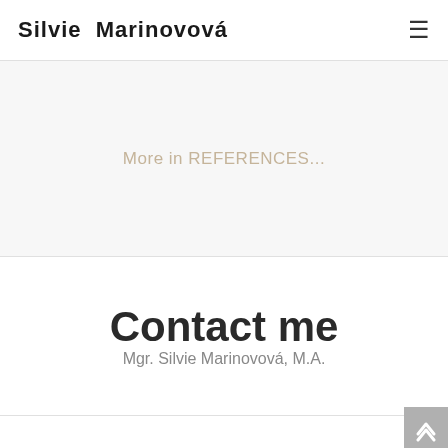Silvie Marinovová
More in REFERENCES...
Contact me
Mgr. Silvie Marinovová, M.A.